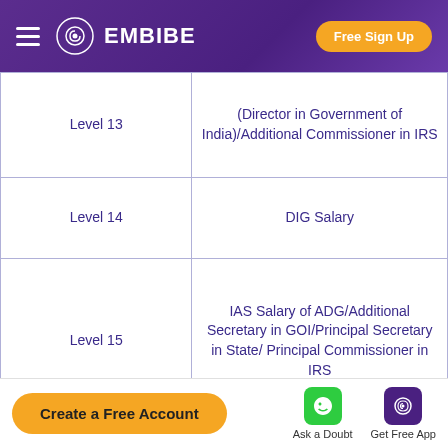EMBIBE | Free Sign Up
| Level | Post/Description |
| --- | --- |
| Level 13 | (Director in Government of India)/Additional Commissioner in IRS |
| Level 14 | DIG Salary |
| Level 15 | IAS Salary of ADG/Additional Secretary in GOI/Principal Secretary in State/ Principal Commissioner in IRS |
| Level 16 | IAS Officer Salary for |
Create a Free Account | Ask a Doubt | Get Free App